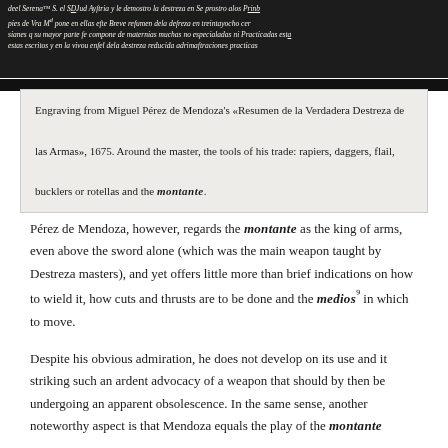[Figure (photo): Scanned engraving from Miguel Pérez de Mendoza's Resumen de la Verdadera Destreza de las Armas, 1675, showing handwritten script text and a dark bar at top.]
Engraving from Miguel Pérez de Mendoza's «Resumen de la Verdadera Destreza de las Armas», 1675. Around the master, the tools of his trade: rapiers, daggers, flail, bucklers or rotellas and the montante.
Pérez de Mendoza, however, regards the montante as the king of arms, even above the sword alone (which was the main weapon taught by Destreza masters), and yet offers little more than brief indications on how to wield it, how cuts and thrusts are to be done and the medios⁹ in which to move.
Despite his obvious admiration, he does not develop on its use and it striking such an ardent advocacy of a weapon that should by then be undergoing an apparent obsolescence. In the same sense, another noteworthy aspect is that Mendoza equals the play of the montante